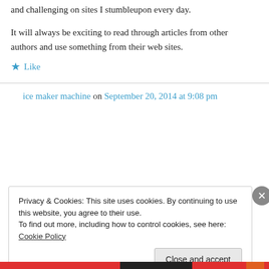and challenging on sites I stumbleupon every day.
It will always be exciting to read through articles from other authors and use something from their web sites.
★ Like
ice maker machine on September 20, 2014 at 9:08 pm
Privacy & Cookies: This site uses cookies. By continuing to use this website, you agree to their use.
To find out more, including how to control cookies, see here: Cookie Policy
Close and accept